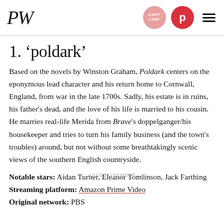PW [logo] | COPY LINK | Pinterest | Menu
1. 'poldark'
Based on the novels by Winston Graham, Poldark centers on the eponymous lead character and his return home to Cornwall, England, from war in the late 1700s. Sadly, his estate is in ruins, his father's dead, and the love of his life is married to his cousin. He marries real-life Merida from Brave's doppelganger/his housekeeper and tries to turn his family business (and the town's troubles) around, but not without some breathtakingly scenic views of the southern English countryside.
Notable stars: Aidan Turner, Eleanor Tomlinson, Jack Farthing
Streaming platform: Amazon Prime Video
Original network: PBS